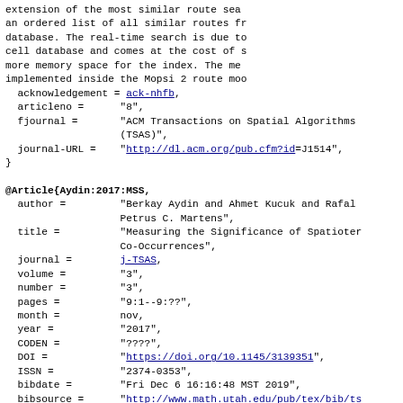extension of the most similar route sea... an ordered list of all similar routes fr... database. The real-time search is due to... cell database and comes at the cost of s... more memory space for the index. The me... implemented inside the Mopsi 2 route moo...
acknowledgement = ack-nhfb,
articleno =     "8",
fjournal =      "ACM Transactions on Spatial Algorithms (TSAS)",
journal-URL =   "http://dl.acm.org/pub.cfm?id=J1514",
}

@Article{Aydin:2017:MSS,
  author =        "Berkay Aydin and Ahmet Kucuk and Rafal... Petrus C. Martens",
  title =         "Measuring the Significance of Spatioter... Co-Occurrences",
  journal =       j-TSAS,
  volume =        "3",
  number =        "3",
  pages =         "9:1--9:??",
  month =         nov,
  year =          "2017",
  CODEN =         "????",
  DOI =           "https://doi.org/10.1145/3139351",
  ISSN =          "2374-0353",
  bibdate =       "Fri Dec 6 16:16:48 MST 2019",
  bibsource =     "http://www.math.utah.edu/pub/tex/bib/ts...",
  URL =           "https://dl.acm.org/citation.cfm?id=3139...",
  abstract =      "Spatiotemporal co-occurrences are the...